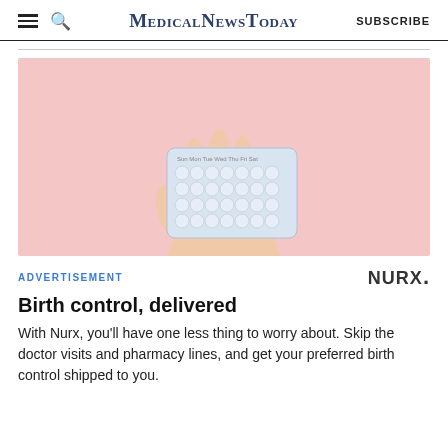MedicalNewsToday SUBSCRIBE
[Figure (photo): A hand holding a blister pack of birth control pills against a pink background]
ADVERTISEMENT
NURX.
Birth control, delivered
With Nurx, you'll have one less thing to worry about. Skip the doctor visits and pharmacy lines, and get your preferred birth control shipped to you.